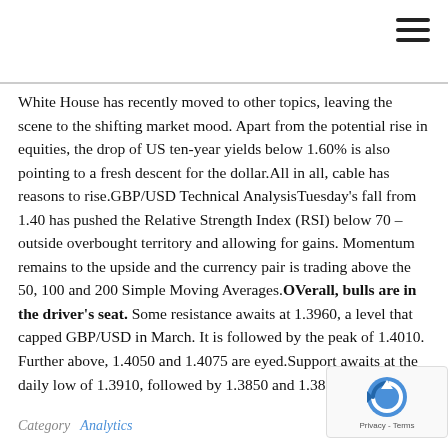White House has recently moved to other topics, leaving the scene to the shifting market mood. Apart from the potential rise in equities, the drop of US ten-year yields below 1.60% is also pointing to a fresh descent for the dollar.All in all, cable has reasons to rise.GBP/USD Technical AnalysisTuesday's fall from 1.40 has pushed the Relative Strength Index (RSI) below 70 – outside overbought territory and allowing for gains. Momentum remains to the upside and the currency pair is trading above the 50, 100 and 200 Simple Moving Averages.OVerall, bulls are in the driver's seat. Some resistance awaits at 1.3960, a level that capped GBP/USD in March. It is followed by the peak of 1.4010. Further above, 1.4050 and 1.4075 are eyed.Support awaits at the daily low of 1.3910, followed by 1.3850 and 1.3810.
Category    Analytics